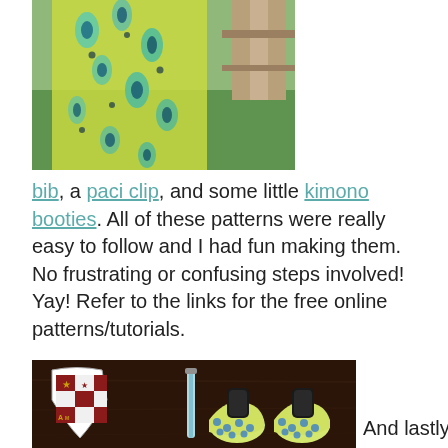[Figure (photo): Photo of a yellow and blue floral/peacock feather patterned garment or fabric draped outdoors near a wooden fence on a grassy area]
bib, a paci clip, and some little kimono booties. All of these patterns were really easy to follow and I had fun making them. No frustrating or confusing steps involved! Yay! Refer to the links for the free online patterns/tutorials.
[Figure (photo): Photo of a baby bib with Texas A&M (Aggie) themed fabric patches and a paci clip, alongside a pair of yellow and blue polka dot kimono booties on a dark wood surface]
And lastly, I